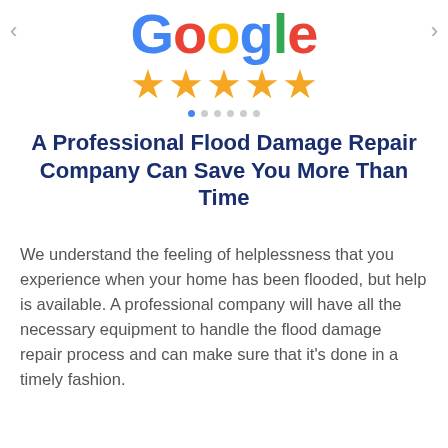[Figure (logo): Google logo in multicolor letters with navigation arrows on left and right]
[Figure (other): Five gold star rating icons]
[Figure (other): Carousel dots indicator with one active blue dot and several inactive gray dots]
A Professional Flood Damage Repair Company Can Save You More Than Time
We understand the feeling of helplessness that you experience when your home has been flooded, but help is available. A professional company will have all the necessary equipment to handle the flood damage repair process and can make sure that it's done in a timely fashion.